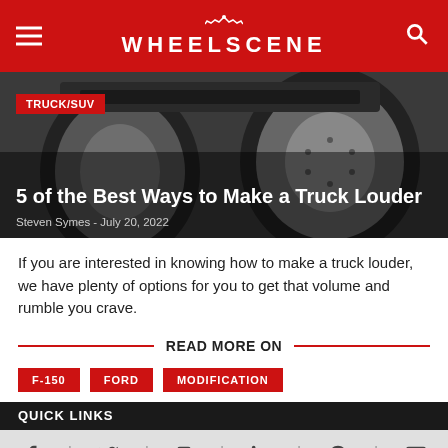WHEELSCENE
[Figure (photo): Black and white photo of large truck/monster truck wheels and undercarriage]
TRUCK/SUV
5 of the Best Ways to Make a Truck Louder
Steven Symes - July 20, 2022
If you are interested in knowing how to make a truck louder, we have plenty of options for you to get that volume and rumble you crave.
READ MORE ON
F-150
FORD
MODIFICATION
QUICK LINKS